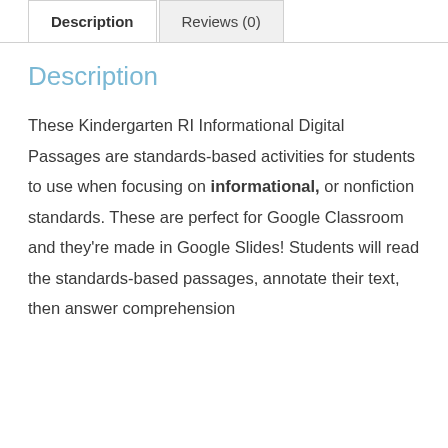Description | Reviews (0)
Description
These Kindergarten RI Informational Digital Passages are standards-based activities for students to use when focusing on informational, or nonfiction standards. These are perfect for Google Classroom and they're made in Google Slides! Students will read the standards-based passages, annotate their text, then answer comprehension